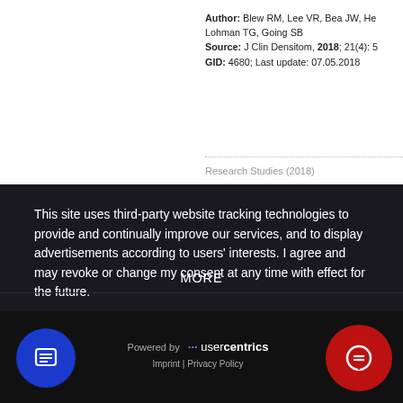Author: Blew RM, Lee VR, Bea JW, He... Lohman TG, Going SB
Source: J Clin Densitom, 2018; 21(4): 5...
GID: 4680; Last update: 07.05.2018
Research Studies (2018)
This site uses third-party website tracking technologies to provide and continually improve our services, and to display advertisements according to users' interests. I agree and may revoke or change my consent at any time with effect for the future.
DENY
ACCEPT
MORE
Powered by usercentrics
Imprint | Privacy Policy